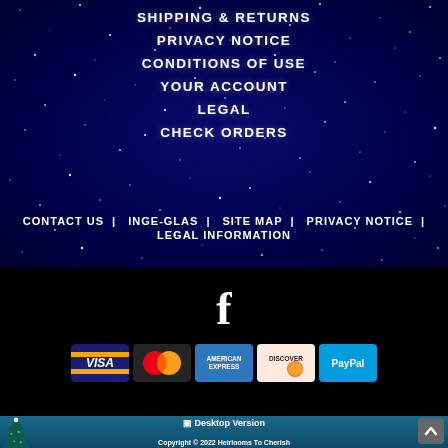SHIPPING & RETURNS
PRIVACY NOTICE
CONDITIONS OF USE
YOUR ACCOUNT
LEGAL
CHECK ORDERS
CONTACT US | INGE-GLAS | SITE MAP | PRIVACY NOTICE | LEGAL INFORMATION
[Figure (logo): Facebook 'f' logo icon in white on black background]
[Figure (infographic): Payment method icons: Visa, MasterCard, American Express, Discover, PayPal]
Desktop Version
[Figure (illustration): Christmas tree illustration in teal/white]
Copyright © 2022 Heirlooms To Cherish